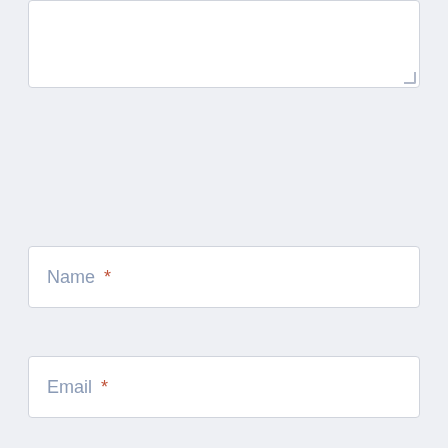[Figure (screenshot): Partial text area input box at the top of the form, showing a white rounded rectangle with a resize handle at bottom-right.]
Name *
Email *
Website
Save my name, email, and website in this